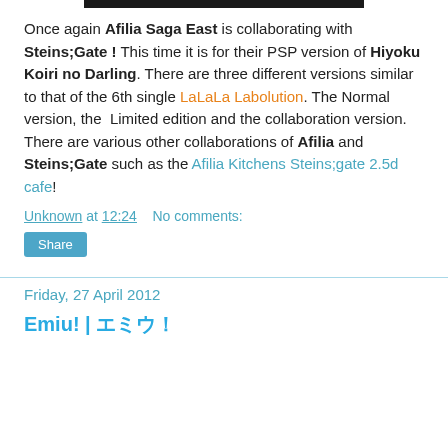[Figure (other): Black horizontal bar at top of page]
Once again Afilia Saga East is collaborating with Steins;Gate ! This time it is for their PSP version of Hiyoku Koiri no Darling. There are three different versions similar to that of the 6th single LaLaLa Labolution. The Normal version, the Limited edition and the collaboration version. There are various other collaborations of Afilia and Steins;Gate such as the Afilia Kitchens Steins;gate 2.5d cafe!
Unknown at 12:24   No comments:
Share
Friday, 27 April 2012
Emiu! | エミウ！